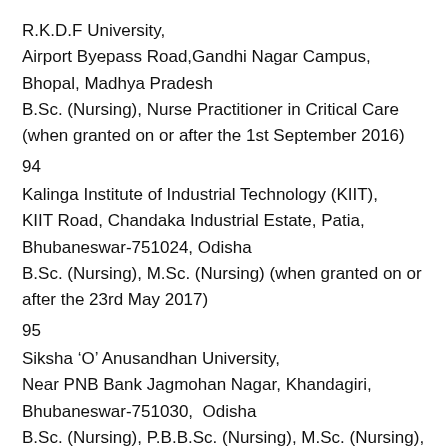R.K.D.F University,
Airport Byepass Road,Gandhi Nagar Campus, Bhopal, Madhya Pradesh
B.Sc. (Nursing), Nurse Practitioner in Critical Care (when granted on or after the 1st September 2016)
94
Kalinga Institute of Industrial Technology (KIIT), KIIT Road, Chandaka Industrial Estate, Patia, Bhubaneswar-751024, Odisha
B.Sc. (Nursing), M.Sc. (Nursing) (when granted on or after the 23rd May 2017)
95
Siksha ‘O’ Anusandhan University,
Near PNB Bank Jagmohan Nagar, Khandagiri, Bhubaneswar-751030,  Odisha
B.Sc. (Nursing), P.B.B.Sc. (Nursing), M.Sc. (Nursing), Post